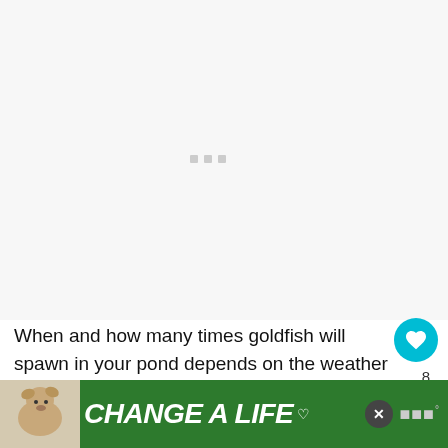[Figure (photo): Light gray image placeholder area with three small gray loading dots in the center]
When and how many times goldfish will spawn in your pond depends on the weather in your region.
Generally, goldfish will spawn during the warm months i.e. between June to September.
[Figure (infographic): WHAT'S NEXT panel: thumbnail image on left, text 'Are Goldfish Freshwater...' on right with cyan arrow label]
[Figure (photo): Bottom advertisement banner: green background with dog image, 'CHANGE A LIFE' text in white italic, close button, and logo]